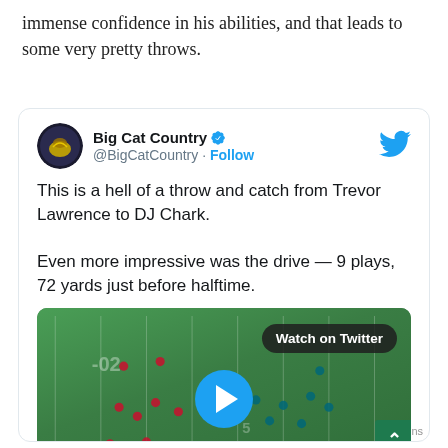immense confidence in his abilities, and that leads to some very pretty throws.
[Figure (screenshot): Embedded tweet from @BigCatCountry with text about Trevor Lawrence throw and catch to DJ Chark, with a video thumbnail of a football game showing a play in progress with a Watch on Twitter button and play button overlay, and a scoreboard showing 7-0]
This is a hell of a throw and catch from Trevor Lawrence to DJ Chark.

Even more impressive was the drive — 9 plays, 72 yards just before halftime.